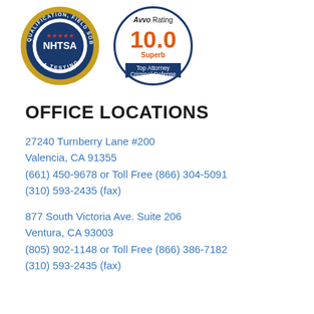[Figure (logo): NHTSA Qualification Field Sobriety Testing circular badge with gold border and blue center, white text, red stars]
[Figure (logo): Avvo Rating 10.0 Superb Top Attorney Criminal Defense badge with blue banner]
OFFICE LOCATIONS
27240 Turnberry Lane #200
Valencia, CA 91355
(661) 450-9678 or Toll Free (866) 304-5091
(310) 593-2435 (fax)
877 South Victoria Ave. Suite 206
Ventura, CA 93003
(805) 902-1148 or Toll Free (866) 386-7182
(310) 593-2435 (fax)